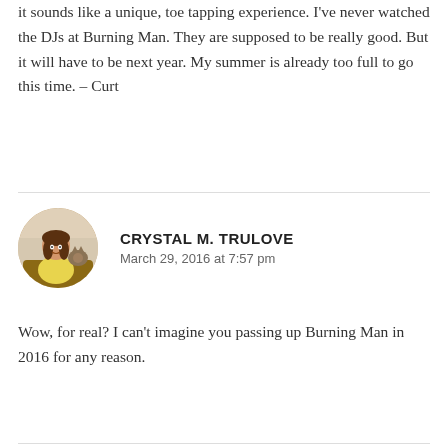it sounds like a unique, toe tapping experience. I've never watched the DJs at Burning Man. They are supposed to be really good. But it will have to be next year. My summer is already too full to go this time. – Curt
CRYSTAL M. TRULOVE
March 29, 2016 at 7:57 pm
Wow, for real? I can't imagine you passing up Burning Man in 2016 for any reason.